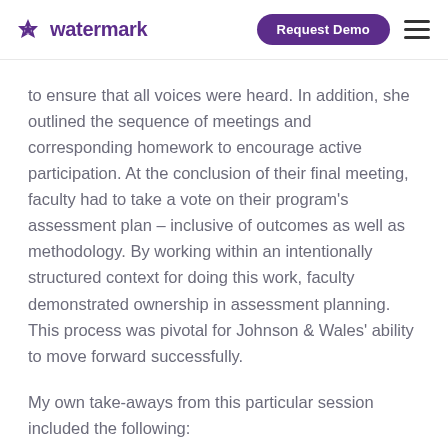watermark | Request Demo
to ensure that all voices were heard. In addition, she outlined the sequence of meetings and corresponding homework to encourage active participation. At the conclusion of their final meeting, faculty had to take a vote on their program's assessment plan – inclusive of outcomes as well as methodology. By working within an intentionally structured context for doing this work, faculty demonstrated ownership in assessment planning. This process was pivotal for Johnson & Wales' ability to move forward successfully.
My own take-aways from this particular session included the following: